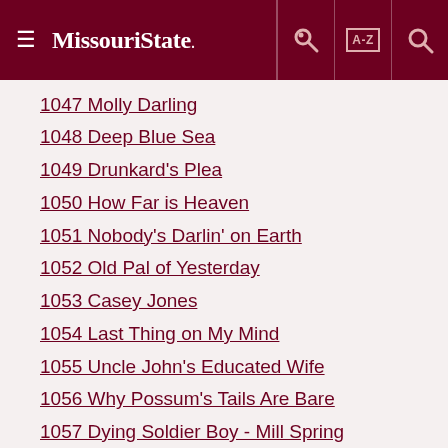Missouri State
1047 Molly Darling
1048 Deep Blue Sea
1049 Drunkard's Plea
1050 How Far is Heaven
1051 Nobody's Darlin' on Earth
1052 Old Pal of Yesterday
1053 Casey Jones
1054 Last Thing on My Mind
1055 Uncle John's Educated Wife
1056 Why Possum's Tails Are Bare
1057 Dying Soldier Boy - Mill Spring
1058 Gallows Song
1059 I Love a Sailor
1060 Pride of the Prairie, Mary
1061 Napinee
1062 Molly and Willie
1063 Pretty Sally